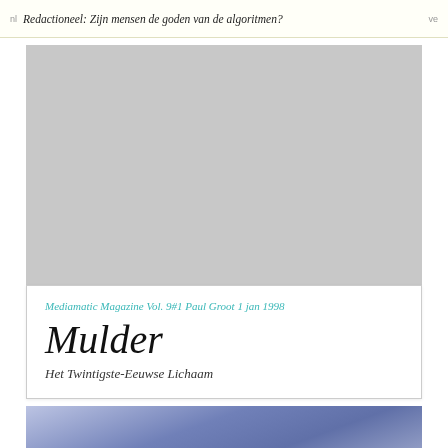Redactioneel: Zijn mensen de goden van de algoritmen?
[Figure (photo): Large grey placeholder image area at the top of the article]
Mediamatic Magazine Vol. 9#1 Paul Groot 1 jan 1998
Mulder
Het Twintigste-Eeuwse Lichaam
[Figure (photo): Partial photo at the bottom showing a blue-tinted abstract close-up image, likely a face or body]